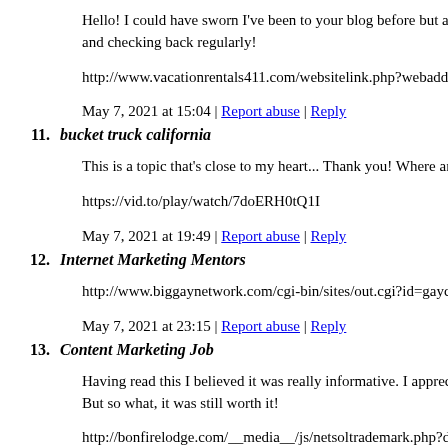Hello! I could have sworn I've been to your blog before but af and checking back regularly!
http://www.vacationrentals411.com/websitelink.php?webaddre
May 7, 2021 at 15:04 | Report abuse | Reply
11. bucket truck california
This is a topic that's close to my heart... Thank you! Where are
https://vid.to/play/watch/7doERH0tQ1I
May 7, 2021 at 19:49 | Report abuse | Reply
12. Internet Marketing Mentors
http://www.biggaynetwork.com/cgi-bin/sites/out.cgi?id=gaycu
May 7, 2021 at 23:15 | Report abuse | Reply
13. Content Marketing Job
Having read this I believed it was really informative. I apprecia But so what, it was still worth it!
http://bonfirelodge.com/__media__/js/netsoltrademark.php?d=